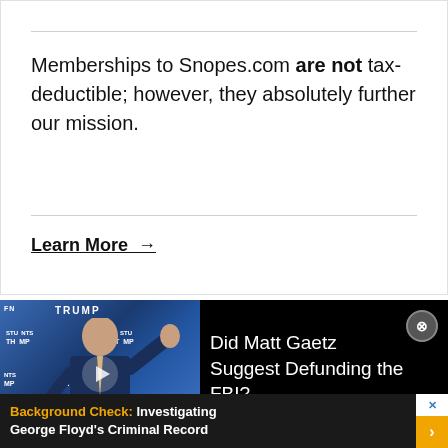Memberships to Snopes.com are not tax-deductible; however, they absolutely further our mission.
Learn More →
[Figure (photo): Video thumbnail showing a man in a blue suit waving at a podium in front of Trump/Students signs, with a play button overlay. Text reads: Did Matt Gaetz Suggest Defunding the FBI?]
Background Check: Investigating George Floyd's Criminal Record